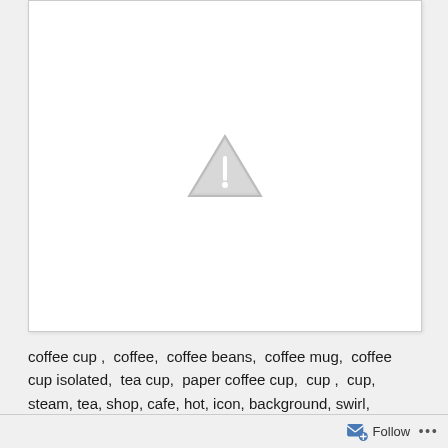[Figure (other): Image placeholder with a light gray warning/caution triangle icon (exclamation mark inside triangle) centered on a white background, indicating a broken or unavailable image.]
coffee cup ,  coffee,  coffee beans,  coffee mug,  coffee cup isolated,  tea cup,  paper coffee cup,  cup ,  cup, steam, tea, shop, cafe, hot, icon, background, swirl, aroma, abstract,
Follow ...